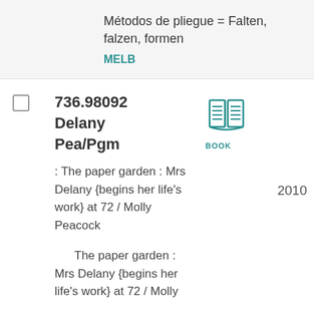Métodos de pliegue = Falten, falzen, formen
MELB
736.98092
Delany
Pea/Pgm
: The paper garden : Mrs Delany {begins her life's work} at 72 / Molly Peacock
The paper garden : Mrs Delany {begins her life's work} at 72 / Molly
[Figure (illustration): Book icon in teal color with BOOK label underneath]
2010